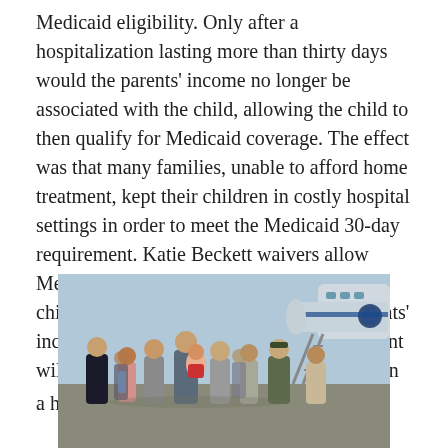Medicaid eligibility. Only after a hospitalization lasting more than thirty days would the parents' income no longer be associated with the child, allowing the child to then qualify for Medicaid coverage. The effect was that many families, unable to afford home treatment, kept their children in costly hospital settings in order to meet the Medicaid 30-day requirement. Katie Beckett waivers allow Medicaid to cover medical services for children in the home, regardless of the parents' income, in cases where home-based treatment will cost less than or the same as treatment in a hospital.[1]
[Figure (photo): Black and white or color photograph of a group of people on an airport tarmac near Air Force One. A person is holding a child. Several adults in formal attire are gathered, with a military officer visible on the right.]